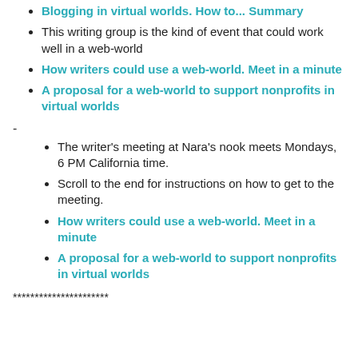Blogging in virtual worlds. How to... Summary
This writing group is the kind of event that could work well in a web-world
How writers could use a web-world. Meet in a minute
A proposal for a web-world to support nonprofits in virtual worlds
-
The writer's meeting at Nara's nook meets Mondays, 6 PM California time.
Scroll to the end for instructions on how to get to the meeting.
How writers could use a web-world. Meet in a minute
A proposal for a web-world to support nonprofits in virtual worlds
**********************